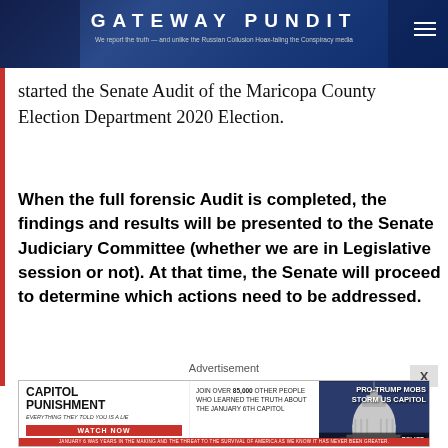GATEWAY PUNDIT
started the Senate Audit of the Maricopa County Election Department 2020 Election.
When the full forensic Audit is completed, the findings and results will be presented to the Senate Judiciary Committee (whether we are in Legislative session or not). At that time, the Senate will proceed to determine which actions need to be addressed.
Advertisement
[Figure (screenshot): Capitol Punishment advertisement banner showing the US Capitol building with text 'JOIN OVER 85,000 OTHER PEOPLE WHO LEARNED THE TRUTH ABOUT THE JANUARY 6TH CAPITOL' and 'PRO-TRUMP MOBS STORM US CAPITOL', with a red WATCH NOW button]